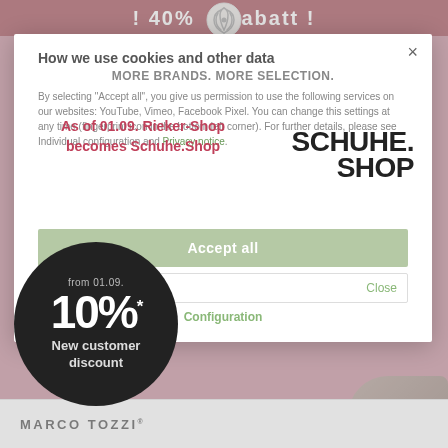! 40% Rabatt !
[Figure (screenshot): Website background showing dark red promotional banner with '! 40% Rabatt !' text and pink/rose overlay with 'NEW O' text and rebrand announcement]
How we use cookies and other data
MORE BRANDS. MORE SELECTION.
By selecting "Accept all", you give us permission to use the following services on our websites: YouTube, Vimeo, Facebook Pixel. You can change this settings at any time (fingerprint icon in the bottom left corner). For further details, please see Individual configuration and Privacy notice.
As of 01.09. Rieker-Shop becomes Schuhe.Shop
[Figure (logo): SCHUHE.SHOP logo in large bold black text]
Accept all
www.SCHUHE.shop
Close
Configuration
[Figure (infographic): Dark circular badge with text: from 01.09. / 10%* / New customer discount]
MARCO TOZZI